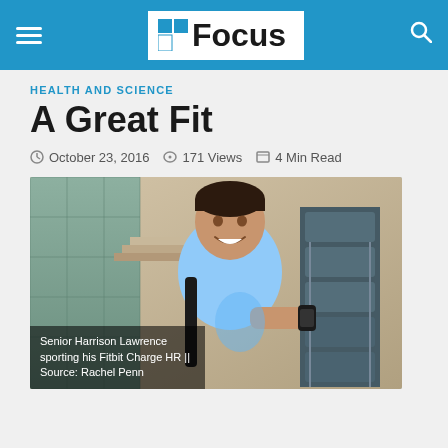Focus
HEALTH AND SCIENCE
A Great Fit
October 23, 2016   171 Views   4 Min Read
[Figure (photo): Senior Harrison Lawrence wearing a blue t-shirt and backpack, sporting his Fitbit Charge HR, smiling in an indoor setting with stacked chairs behind him. Caption: Senior Harrison Lawrence sporting his Fitbit Charge HR || Source: Rachel Penn]
Senior Harrison Lawrence sporting his Fitbit Charge HR || Source: Rachel Penn